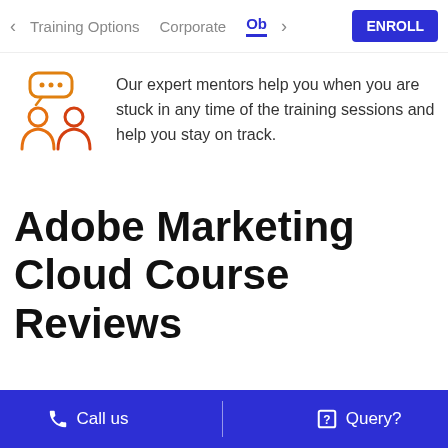< Training Options   Corporate   Ob >   ENROLL
[Figure (illustration): Orange icon of two people with a speech/chat bubble above them, indicating expert mentors or support.]
Our expert mentors help you when you are stuck in any time of the training sessions and help you stay on track.
Adobe Marketing Cloud Course Reviews
Call us   |   Query?